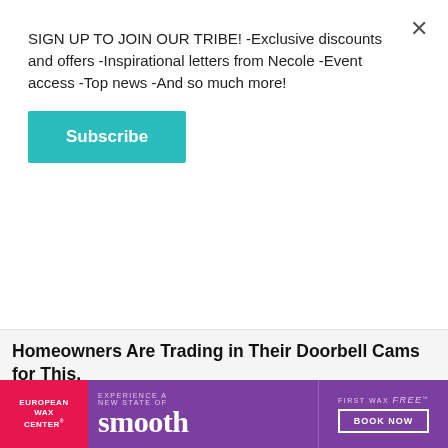SIGN UP TO JOIN OUR TRIBE! -Exclusive discounts and offers -Inspirational letters from Necole -Event access -Top news -And so much more!
Subscribe
Homeowners Are Trading in Their Doorbell Cams for This.
Keilini.com
[Figure (photo): Elderly woman holding fan of US dollar bills up to her face, wearing a green shirt, seated on a striped couch]
[Figure (infographic): European Wax Center advertisement: magenta left panel with EUROPEAN WAX CENTER text, purple center panel with EXPERIENCE A NEW STATE OF smooth tagline, purple right panel with FIRST WAX free BOOK NOW button]